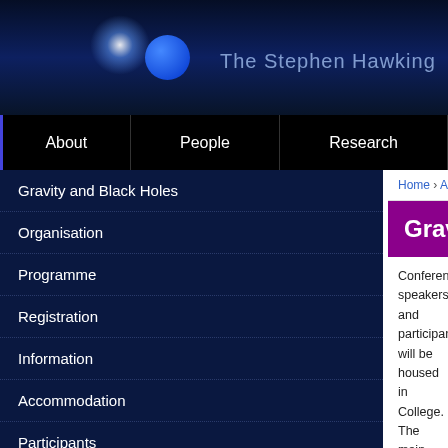The Stephen Hawking
About | People | Research
Home › Activities › Gravity and Black Holes › Accommo...
Gravity and Black Holes
Gravity and Black Holes
Organisation
Programme
Registration
Information
Accommodation
Participants
Multimedia
Conference speakers and participants will be housed in College. The main venue is Trinity Hall's Wychfield Site can book rooms at the Arundel House Hotel. Alternatively to the conference venue. Finally, we have a small numb 1st July for those attendees who require accommodation are as follows:
Caius: £72.50
Trinity Hall: £75
Arundel House: £155
Wolfson Court: £40.20